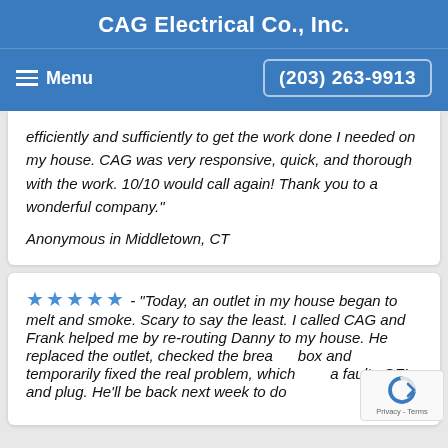CAG Electrical Co., Inc.
Menu  (203) 263-9913
efficiently and sufficiently to get the work done I needed on my house. CAG was very responsive, quick, and thorough with the work. 10/10 would call again! Thank you to a wonderful company."
Anonymous in Middletown, CT
★★★★★ - "Today, an outlet in my house began to melt and smoke. Scary to say the least. I called CAG and Frank helped me by re-routing Danny to my house. He replaced the outlet, checked the breaker box and temporarily fixed the real problem, which a faulty GFI and plug. He'll be back next week to do